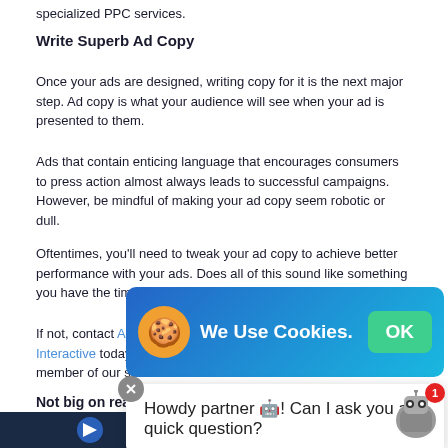specialized PPC services.
Write Superb Ad Copy
Once your ads are designed, writing copy for it is the next major step. Ad copy is what your audience will see when your ad is presented to them.
Ads that contain enticing language that encourages consumers to press action almost always leads to successful campaigns. However, be mindful of making your ad copy seem robotic or dull.
Oftentimes, you'll need to tweak your ad copy to achieve better performance with your ads. Does all of this sound like something you have the time or expertise to you?
If not, contact Agency Partner Interactive today to speak to a member of our sales team.
Not big on reading? T… Strategies For Servi…
Using the powe… Check it out below!
[Figure (screenshot): Cookie consent banner with blue gradient background showing cookie emoji, 'We Use Cookies.' text, and green OK button]
[Figure (screenshot): Chat popup with text 'Howdy partner ! Can I ask you a quick question?' and robot avatar with red badge showing 1]